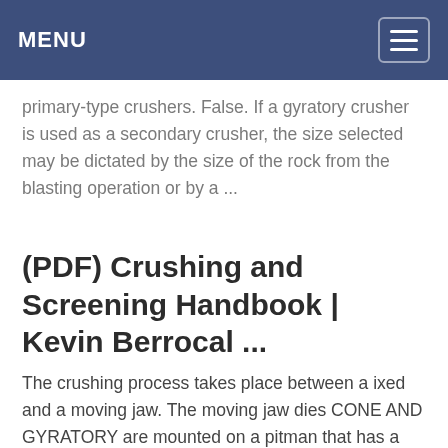MENU
primary-type crushers. False. If a gyratory crusher is used as a secondary crusher, the size selected may be dictated by the size of the rock from the blasting operation or by a ...
(PDF) Crushing and Screening Handbook | Kevin Berrocal ...
The crushing process takes place between a ixed and a moving jaw. The moving jaw dies CONE AND GYRATORY are mounted on a pitman that has a recipro- CRUSHERS cating motion. The size...